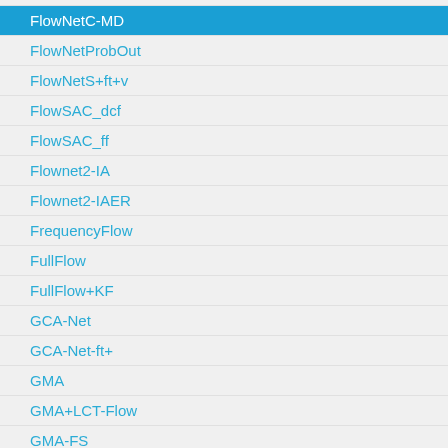FlowNetC-MD
FlowNetProbOut
FlowNetS+ft+v
FlowSAC_dcf
FlowSAC_ff
Flownet2-IA
Flownet2-IAER
FrequencyFlow
FullFlow
FullFlow+KF
GCA-Net
GCA-Net-ft+
GMA
GMA+LCT-Flow
GMA-FS
GMA-base
GMFlow
GMFlow+